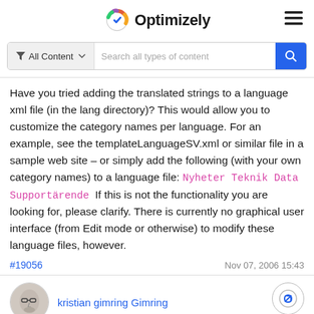Optimizely
Have you tried adding the translated strings to a language xml file (in the lang directory)? This would allow you to customize the category names per language. For an example, see the templateLanguageSV.xml or similar file in a sample web site – or simply add the following (with your own category names) to a language file: Nyheter Teknik Data Supportärende  If this is not the functionality you are looking for, please clarify. There is currently no graphical user interface (from Edit mode or otherwise) to modify these language files, however.
#19056   Nov 07, 2006 15:43
kristian gimring Gimring